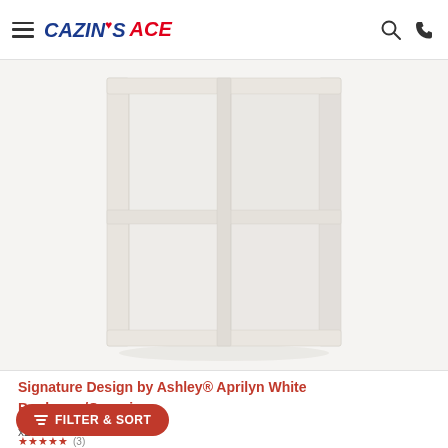Cazin's Ace — navigation header with hamburger menu, logo, search icon, phone icon
[Figure (photo): White cube organizer bookshelf with 4 cubbies (2x2), white/light gray finish, open back storage unit]
Signature Design by Ashley® Aprilyn White 2x2 Bookcase/Organizer
x2
stars (3)